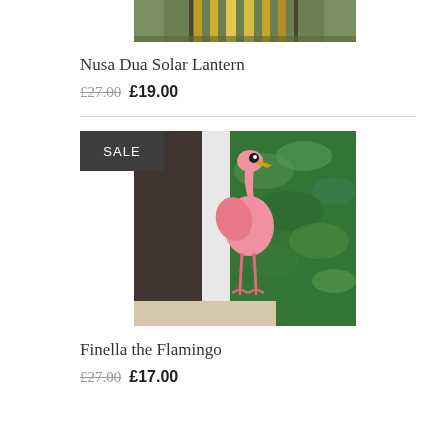[Figure (photo): Top portion of a solar lantern product photo — cylindrical cage lantern with warm yellow glow, outdoor setting]
Nusa Dua Solar Lantern
£27.00 £19.00
[Figure (photo): A pink flamingo garden ornament sculpture standing on a doorstep in front of green foliage and brick wall, with a SALE badge overlay]
Finella the Flamingo
£27.00 £17.00